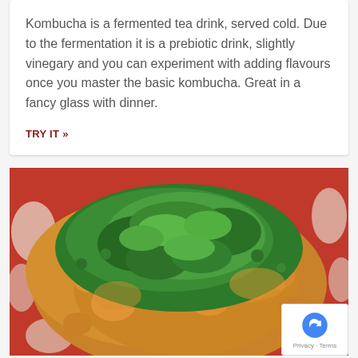Kombucha is a fermented tea drink, served cold. Due to the fermentation it is a prebiotic drink, slightly vinegary and you can experiment with adding flavours once you master the basic kombucha. Great in a fancy glass with dinner.
TRY IT »
[Figure (photo): Close-up photo of a dish with golden-brown pieces of food (chicken or chickpeas) topped with chopped fresh green herbs (parsley/coriander), served on a decorative red and white patterned plate.]
Chilli b...